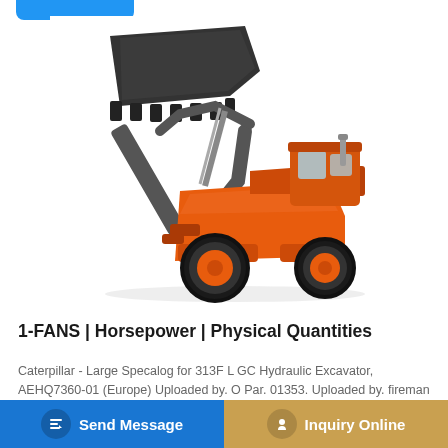[Figure (photo): Orange Doosan wheel loader with raised bucket, side view on white background]
1-FANS | Horsepower | Physical Quantities
Caterpillar - Large Specalog for 313F L GC Hydraulic Excavator, AEHQ7360-01 (Europe) Uploaded by. O Par. 01353. Uploaded by. fireman man
Send Message | Inquiry Online